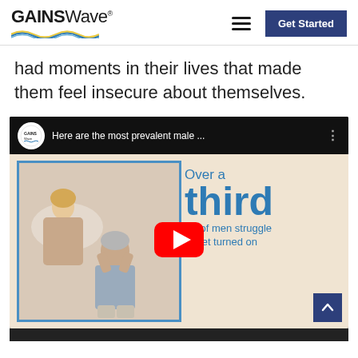GAINSWave — Get Started
had moments in their lives that made them feel insecure about themselves.
[Figure (screenshot): YouTube video thumbnail for GAINSWave video titled 'Here are the most prevalent male...' showing a man holding his head in distress sitting on a bed with a woman in the background, and text overlay reading 'Over a third (%) of men struggle to get turned on' with a YouTube play button overlay.]